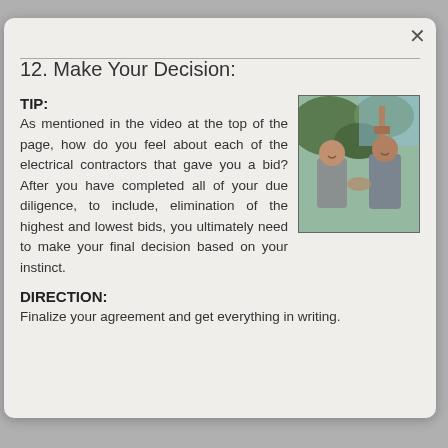12. Make Your Decision:
TIP:
As mentioned in the video at the top of the page, how do you feel about each of the electrical contractors that gave you a bid? After you have completed all of your due diligence, to include, elimination of the highest and lowest bids, you ultimately need to make your final decision based on your instinct.
[Figure (photo): Two men shaking hands outdoors, one in a grey shirt and one in a grey jacket, with green foliage and construction equipment in the background.]
DIRECTION:
Finalize your agreement and get everything in writing.